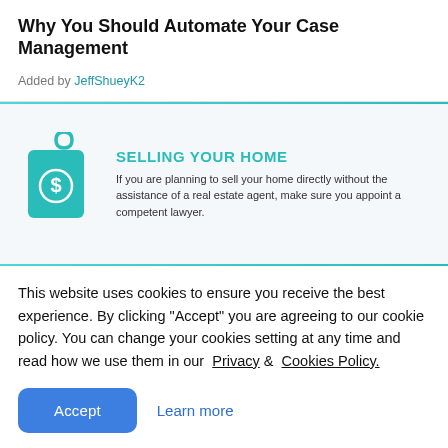Why You Should Automate Your Case Management
Added by JeffShueyK2
[Figure (illustration): A teal/cyan price tag icon with a dollar sign, accompanied by a card with heading 'SELLING YOUR HOME' and descriptive text about selling a home without a real estate agent.]
This website uses cookies to ensure you receive the best experience. By clicking "Accept" you are agreeing to our cookie policy. You can change your cookies setting at any time and read how we use them in our Privacy & Cookies Policy.
Accept
Learn more